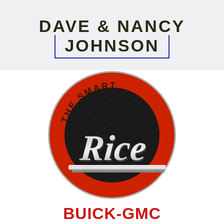DAVE & NANCY JOHNSON
[Figure (logo): Rice Buick-GMC dealership logo: circular badge with red outer ring reading 'THE SMART CHOICE', black inner disc, silver script 'Rice' lettering across center]
BUICK-GMC
8330 KINGSTON PIKE